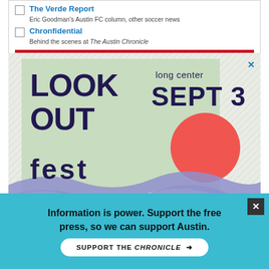The Verde Report — Eric Goodman's Austin FC column, other soccer news
Chronfidential — Behind the scenes at The Austin Chronicle
SUBSCRIBE
[Figure (illustration): Look Out Fest advertisement: light green background, large bold dark blue text reading LOOK OUT fest on the left, long center SEPT 3 on the right, a red/coral circle in the lower right area, and abstract blue wave stripes across the bottom.]
[Figure (illustration): Partial advertisement banner at bottom, appears to be a Paramount+ or similar streaming service ad, pink/peachy background with portrait images.]
Information is power. Support the free press, so we can support Austin.
SUPPORT THE CHRONICLE →